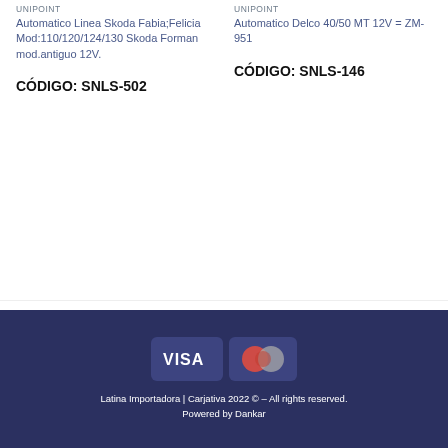UNIPOINT
Automatico Linea Skoda Fabia;Felicia Mod:110/120/124/130 Skoda Forman mod.antiguo 12V.
CÓDIGO: SNLS-502
UNIPOINT
Automatico Delco 40/50 MT 12V = ZM-951
CÓDIGO: SNLS-146
[Figure (logo): Brand logos strip: 3-RHO, DNI, DS with navigation arrows]
[Figure (logo): Payment icons: VISA and MasterCard]
Latina Importadora | Carjativa 2022 © – All rights reserved.
Powered by Dankar